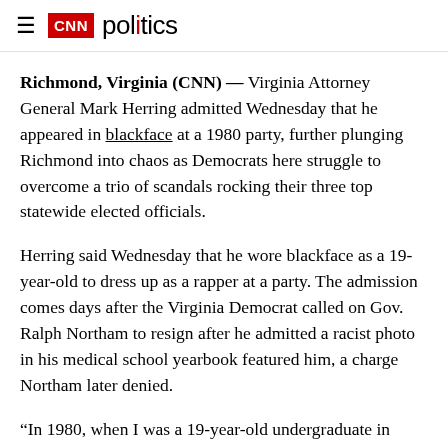CNN politics
Richmond, Virginia (CNN) — Virginia Attorney General Mark Herring admitted Wednesday that he appeared in blackface at a 1980 party, further plunging Richmond into chaos as Democrats here struggle to overcome a trio of scandals rocking their three top statewide elected officials.
Herring said Wednesday that he wore blackface as a 19-year-old to dress up as a rapper at a party. The admission comes days after the Virginia Democrat called on Gov. Ralph Northam to resign after he admitted a racist photo in his medical school yearbook featured him, a charge Northam later denied.
“In 1980, when I was a 19-year-old undergraduate in